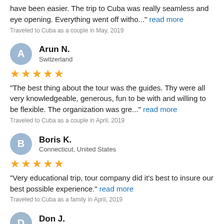have been easier. The trip to Cuba was really seamless and eye opening. Everything went off witho..." read more
Traveled to Cuba as a couple in May, 2019
Arun N.
Switzerland
★★★★★
"The best thing about the tour was the guides. Thy were all very knowledgeable, generous, fun to be with and willing to be flexible. The organization was gre..." read more
Traveled to Cuba as a couple in April, 2019
Boris K.
Connecticut, United States
★★★★★
"Very educational trip, tour company did it's best to insure our best possible experience." read more
Traveled to Cuba as a family in April, 2019
Don J.
New York, United States